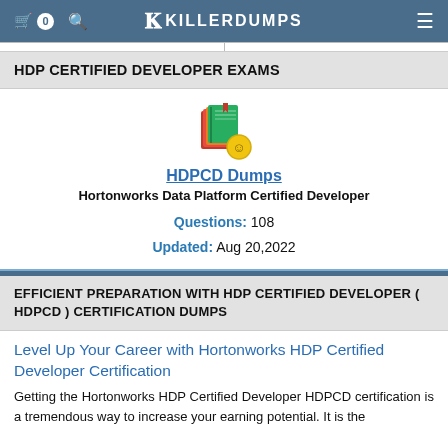🛒 0  🔍  KILLERDUMPS  ≡
HDP CERTIFIED DEVELOPER EXAMS
[Figure (illustration): Stack of books/study materials icon with a smiley coin badge]
HDPCD Dumps
Hortonworks Data Platform Certified Developer
Questions: 108
Updated: Aug 20,2022
EFFICIENT PREPARATION WITH HDP CERTIFIED DEVELOPER ( HDPCD ) CERTIFICATION DUMPS
Level Up Your Career with Hortonworks HDP Certified Developer Certification
Getting the Hortonworks HDP Certified Developer HDPCD certification is a tremendous way to increase your earning potential. It is the